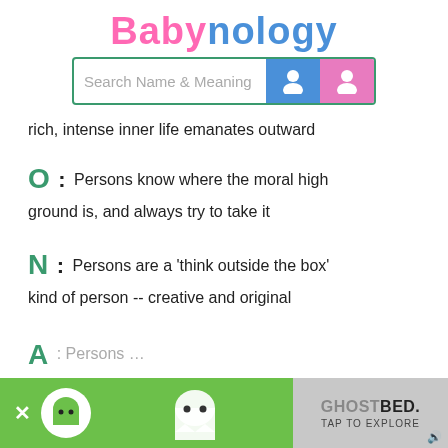Babynology
[Figure (screenshot): Search bar with label 'Search Name & Meaning' with blue male and pink female icon buttons]
rich, intense inner life emanates outward
O : Persons know where the moral high ground is, and always try to take it
N : Persons are a 'think outside the box' kind of person -- creative and original
A : (partial, cut off)
[Figure (screenshot): Green advertisement banner for GhostBed with ghost icon and TAP TO EXPLORE button]